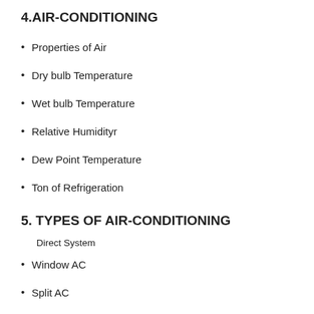4.AIR-CONDITIONING
Properties of Air
Dry bulb Temperature
Wet bulb Temperature
Relative Humidityr
Dew Point Temperature
Ton of Refrigeration
5. TYPES OF AIR-CONDITIONING
Direct System
Window AC
Split AC